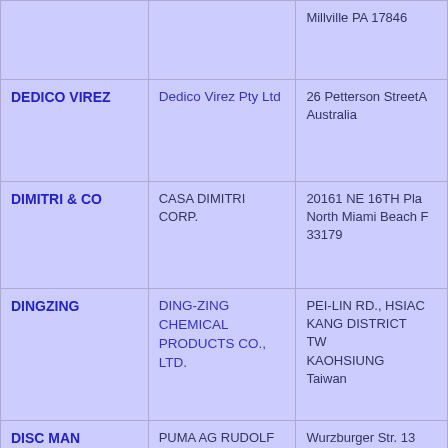| Brand | Company | Address |
| --- | --- | --- |
|  |  | Millville PA 17846 |
| DEDICO VIREZ | Dedico Virez Pty Ltd | 26 Petterson StreetA Australia |
| DIMITRI & CO | CASA DIMITRI CORP. | 20161 NE 16TH Pla North Miami Beach F 33179 |
| DINGZING | DING-ZING CHEMICAL PRODUCTS CO., LTD. | PEI-LIN RD., HSIAC KANG DISTRICT TW KAOHSIUNG Taiwan |
| DISC MAN | PUMA AG RUDOLF DASSLER SPORT | Wurzburger Str. 13 D-91074 Herzogenaurach DE |
| DOLCE & | Dolce & Gabbana | Via Goldoni, 10IT |